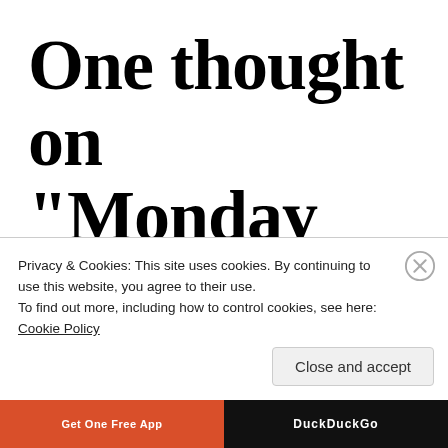One thought on “Monday Challenge: Just.
Privacy & Cookies: This site uses cookies. By continuing to use this website, you agree to their use.
To find out more, including how to control cookies, see here: Cookie Policy
Close and accept